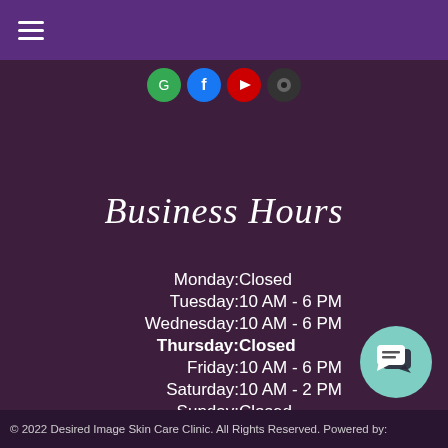[Figure (illustration): Social media icon buttons (Google, Facebook, YouTube/Play, and another dark icon) partially visible at the top center]
Business Hours
| Day | Hours |
| --- | --- |
| Monday: | Closed |
| Tuesday: | 10 AM - 6 PM |
| Wednesday: | 10 AM - 6 PM |
| Thursday: | Closed |
| Friday: | 10 AM - 6 PM |
| Saturday: | 10 AM - 2 PM |
| Sunday: | Closed |
[Figure (illustration): Teal chat/messaging bubble icon in bottom right corner]
© 2022 Desired Image Skin Care Clinic. All Rights Reserved. Powered by: